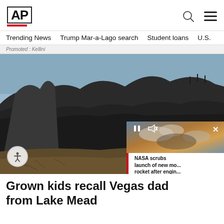AP
Trending News   Trump Mar-a-Lago search   Student loans   U.S.
Promoted : Kellini
[Figure (photo): A wrecked boat hull sticking up from dried cracked mud at Lake Mead, with dark rocky cliffs in the background under a clear sky. An accessibility icon button is visible in the lower left. A video overlay in the lower right shows a NASA rocket launch story.]
Grown kids recall Vegas dad from Lake Mead
NASA scrubs launch of new mo... rocket after engin...